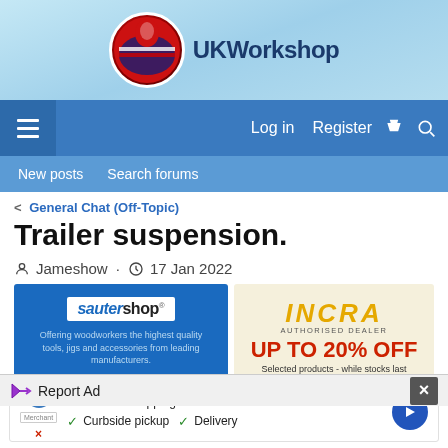[Figure (logo): UKWorkshop forum logo with red circular emblem and blue text]
Log in  Register
New posts  Search forums
General Chat (Off-Topic)
Trailer suspension.
Jameshow · 17 Jan 2022
[Figure (illustration): Sauter Shop advertisement - blue background, Offering woodworkers the highest quality tools, jigs and accessories from leading manufacturers. www.sautershop.com]
[Figure (illustration): INCRA Authorised Dealer - UP TO 20% OFF Selected products - while stocks last. www.woodworkersworkshop.co.uk]
[Figure (illustration): SHOP DEALS ON - left banner ad with grey background]
[Figure (illustration): SHOP DEALS ON - right banner ad with brown/wood background]
Report Ad
In-store shopping  Curbside pickup  Delivery